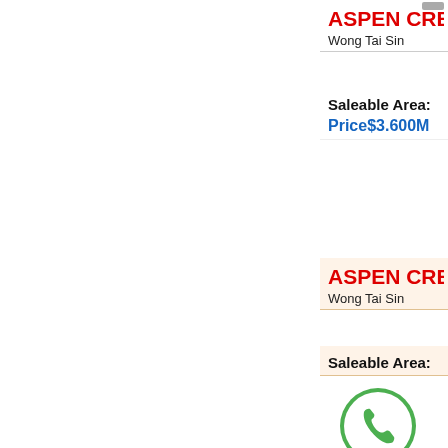ASPEN CRE
Wong Tai Sin
Saleable Area:
Price$3.600M
ASPEN CRE
Wong Tai Sin
Saleable Area:
[Figure (logo): WhatsApp green logo icon]
Whatsapp
Enquiry Now